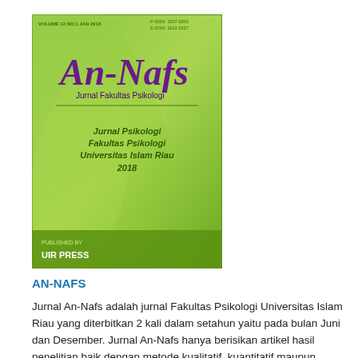[Figure (illustration): Cover of An-Nafs journal - Jurnal Fakultas Psikologi, green background with swirling design, purple An-Nafs logo, text Jurnal Psikologi Fakultas Psikologi Universitas Islam Riau 2018, UIR PRESS publisher, VOLUME 12 NO.1 JAN 2018, P-ISSN 1907-3305, E-ISSN 2622-2337]
AN-NAFS
Jurnal An-Nafs adalah jurnal Fakultas Psikologi Universitas Islam Riau yang diterbitkan 2 kali dalam setahun yaitu pada bulan Juni dan Desember. Jurnal An-Nafs hanya berisikan artikel hasil penelitian baik dengan metode kualitatif, kuantitatif maupun kombinasi. Adapun scope jurnal An-